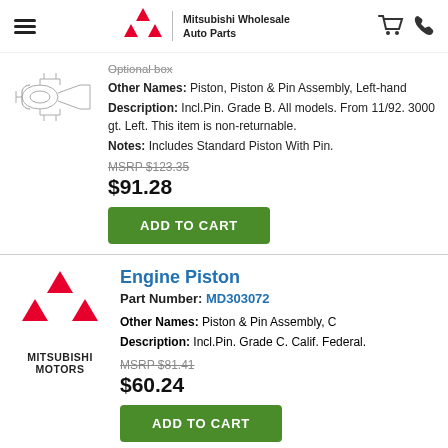Mitsubishi Wholesale Auto Parts
Other Names: Piston, Piston & Pin Assembly, Left-hand
Description: Incl.Pin. Grade B. All models. From 11/92. 3000 gt. Left. This item is non-returnable.
Notes: Includes Standard Piston With Pin.
MSRP $123.35
$91.28
ADD TO CART
[Figure (logo): Mitsubishi Motors logo with red diamond shapes and text MITSUBISHI MOTORS]
Engine Piston
Part Number: MD303072
Other Names: Piston & Pin Assembly, C
Description: Incl.Pin. Grade C. Calif. Federal.
MSRP $81.41
$60.24